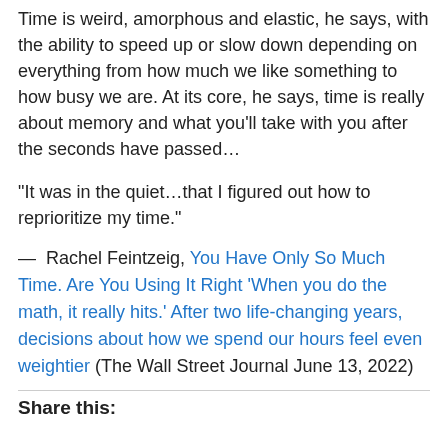Time is weird, amorphous and elastic, he says, with the ability to speed up or slow down depending on everything from how much we like something to how busy we are. At its core, he says, time is really about memory and what you'll take with you after the seconds have passed…
“It was in the quiet…that I figured out how to reprioritize my time.”
— Rachel Feintzeig, You Have Only So Much Time. Are You Using It Right 'When you do the math, it really hits.' After two life-changing years, decisions about how we spend our hours feel even weightier (The Wall Street Journal June 13, 2022)
Share this: